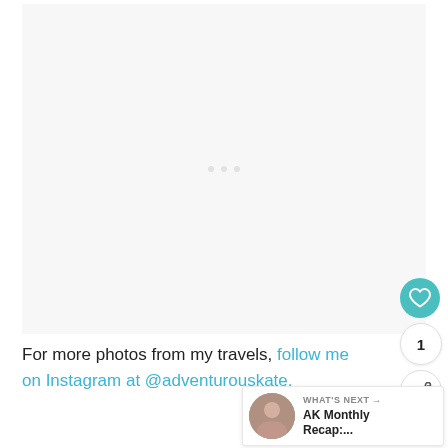[Figure (photo): Large light gray placeholder image area with three small dots in the center indicating an image carousel or loading state]
For more photos from my travels, follow me on Instagram at @adventurouskate.
[Figure (infographic): Heart/like button (teal circle with heart icon), count showing '1', and share button (circle with share icon)]
[Figure (infographic): WHAT'S NEXT widget showing a circular avatar photo and the text 'AK Monthly Recap:...']